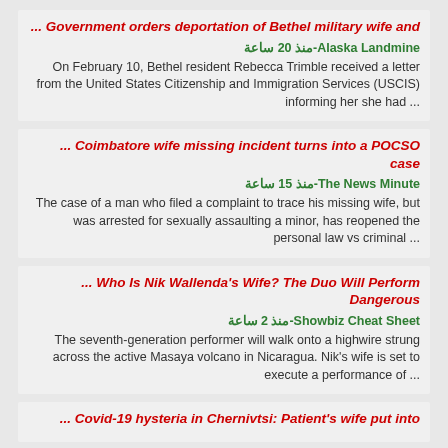... Government orders deportation of Bethel military wife and
Alaska Landmine - منذ 20 ساعة
On February 10, Bethel resident Rebecca Trimble received a letter from the United States Citizenship and Immigration Services (USCIS) informing her she had ...
... Coimbatore wife missing incident turns into a POCSO case
The News Minute - منذ 15 ساعة
The case of a man who filed a complaint to trace his missing wife, but was arrested for sexually assaulting a minor, has reopened the personal law vs criminal ...
... Who Is Nik Wallenda's Wife? The Duo Will Perform Dangerous
Showbiz Cheat Sheet - منذ 2 ساعة
The seventh-generation performer will walk onto a highwire strung across the active Masaya volcano in Nicaragua. Nik's wife is set to execute a performance of ...
... Covid-19 hysteria in Chernivtsi: Patient's wife put into